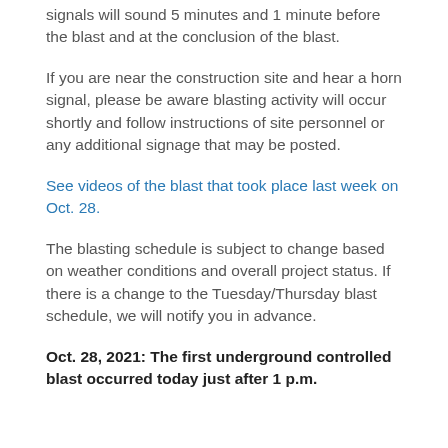signals will sound 5 minutes and 1 minute before the blast and at the conclusion of the blast.
If you are near the construction site and hear a horn signal, please be aware blasting activity will occur shortly and follow instructions of site personnel or any additional signage that may be posted.
See videos of the blast that took place last week on Oct. 28.
The blasting schedule is subject to change based on weather conditions and overall project status. If there is a change to the Tuesday/Thursday blast schedule, we will notify you in advance.
Oct. 28, 2021: The first underground controlled blast occurred today just after 1 p.m.